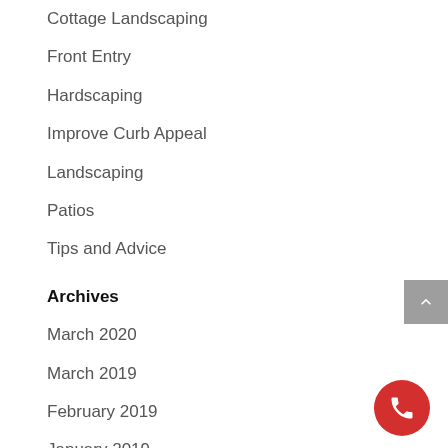Cottage Landscaping
Front Entry
Hardscaping
Improve Curb Appeal
Landscaping
Patios
Tips and Advice
Archives
March 2020
March 2019
February 2019
January 2019